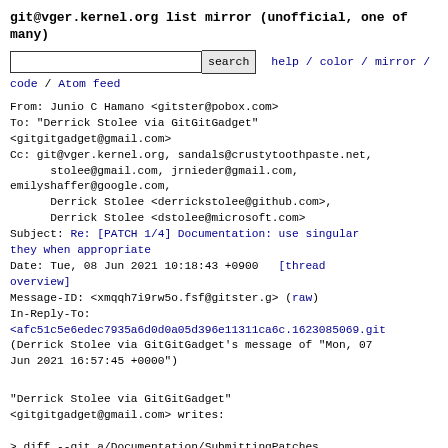git@vger.kernel.org list mirror (unofficial, one of many)
[Figure (screenshot): Search bar with input field and search button, followed by navigation links: help / color / mirror / code / Atom feed]
From: Junio C Hamano <gitster@pobox.com>
To: "Derrick Stolee via GitGitGadget" <gitgitgadget@gmail.com>
Cc: git@vger.kernel.org, sandals@crustytoothpaste.net,
        stolee@gmail.com, jrnieder@gmail.com,
emilyshaffer@google.com,
        Derrick Stolee <derrickstolee@github.com>,
        Derrick Stolee <dstolee@microsoft.com>
Subject: Re: [PATCH 1/4] Documentation: use singular they when appropriate
Date: Tue, 08 Jun 2021 10:18:43 +0900   [thread overview]
Message-ID: <xmqqh7i9rw5o.fsf@gitster.g> (raw)
In-Reply-To:
<afc51c5e6edec7935a6d0d0a05d396e11311ca6c.1623085069.git
(Derrick Stolee via GitGitGadget's message of "Mon, 07 Jun 2021 16:57:45 +0000")
"Derrick Stolee via GitGitGadget" <gitgitgadget@gmail.com> writes:
> diff --git a/Documentation/SubmittingPatches b/Documentation/SubmittingPatches
> index 55287d72e0ef..b518d3157f70 100644